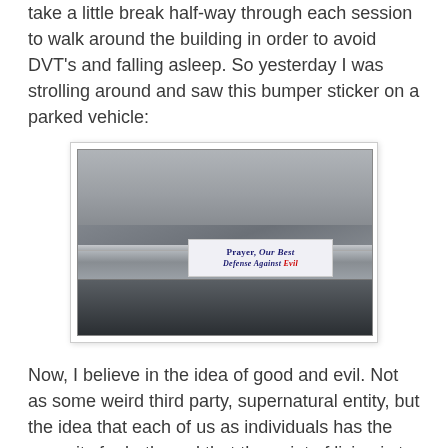take a little break half-way through each session to walk around the building in order to avoid DVT's and falling asleep. So yesterday I was strolling around and saw this bumper sticker on a parked vehicle:
[Figure (photo): Photo of a car bumper with a bumper sticker reading 'Prayer, Our Best Defense Against Evil' in blue and red text]
Now, I believe in the idea of good and evil. Not as some weird third party, supernatural entity, but the idea that each of us as individuals has the capacity for both, and that the point of living is to foster the former and suppress the latter. Not because some supernatural being tells me to, but because it's right and ethical to do so.